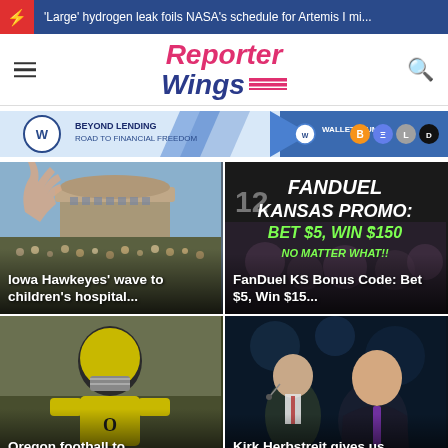'Large' hydrogen leak foils NASA's schedule for Artemis I mi...
[Figure (logo): Reporter Wings logo with hamburger menu and search icon]
[Figure (infographic): Beyond Lending Road to Financial Freedom - Walletreum crypto ad banner]
[Figure (photo): Iowa Hawkeyes crowd at stadium with hand raised]
Iowa Hawkeyes' wave to children's hospital...
[Figure (infographic): FanDuel Kansas Promo: Bet $5, Win $150 No Matter What promotional image]
FanDuel KS Bonus Code: Bet $5, Win $15...
[Figure (photo): Oregon football player in yellow uniform and helmet]
Oregon football to...
[Figure (photo): Kirk Herbstreit with another person at broadcast desk]
Kirk Herbstreit gives us...